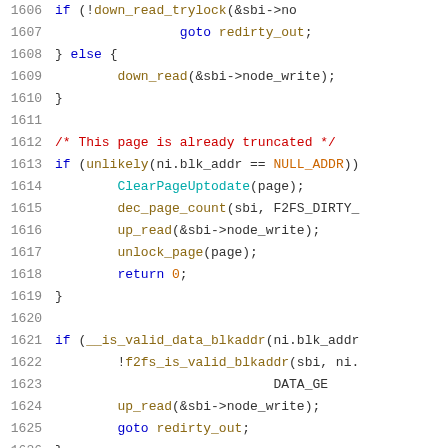[Figure (screenshot): Source code listing lines 1606-1626 of a C file (likely f2fs filesystem code), showing conditional logic for page writeback including trylock, truncation check, and block address validation.]